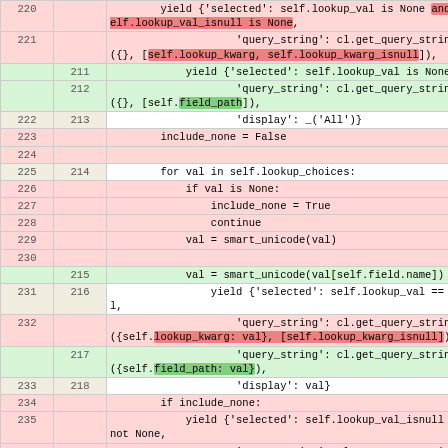| old | new | code |
| --- | --- | --- |
| 220 |  | yield {'selected': self.lookup_val is None and self.lookup_val_isnull is None, |
| 221 |  |     'query_string': cl.get_query_string({}, [self.lookup_kwarg, self.lookup_kwarg_isnull]), |
|  | 211 |     yield {'selected': self.lookup_val is None, |
|  | 212 |     'query_string': cl.get_query_string({}, [self.field_path]), |
| 222 | 213 |     'display': _('All')} |
| 223 |  | include_none = False |
| 224 |  |  |
| 225 | 214 | for val in self.lookup_choices: |
| 226 |  |     if val is None: |
| 227 |  |         include_none = True |
| 228 |  |         continue |
| 229 |  |     val = smart_unicode(val) |
| 230 |  |  |
|  | 215 |     val = smart_unicode(val[self.field.name]) |
| 231 | 216 |     yield {'selected': self.lookup_val == val, |
| 232 |  |         'query_string': cl.get_query_string({self.lookup_kwarg: val}, [self.lookup_kwarg_isnull]), |
|  | 217 |         'query_string': cl.get_query_string({self.field_path: val}), |
| 233 | 218 |         'display': val} |
| 234 |  | if include_none: |
| 235 |  |     yield {'selected': self.lookup_val_isnull is not None, |
| 236 |  |         'query_string': cl.get_query_string({self.lookup_kwarg_isnull: 'True'}, [self.lookup_kwarg]), |